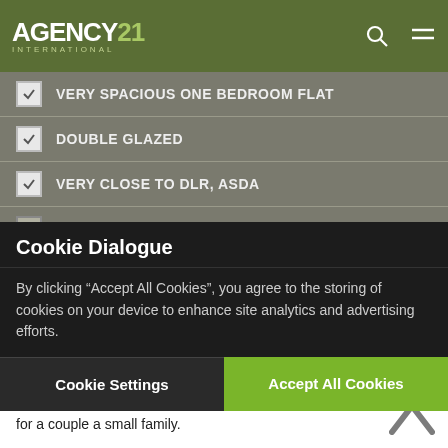AGENCY21 INTERNATIONAL
VERY SPACIOUS ONE BEDROOM FLAT
DOUBLE GLAZED
VERY CLOSE TO DLR, ASDA
GOOD SIZE GARDEN
CENTRAL HEATING
Cookie Dialogue
By clicking "Accept All Cookies", you agree to the storing of cookies on your device to enhance site analytics and advertising efforts.
Cookie Settings
Accept All Cookies
and allocated parking space, the property is in Excellent condition, very Close to Asda, DLR and City Airport. The property is perfect for a couple a small family.
The property is in excellent condition, double glazed and gas central heating. Within easy reach of Beckton, 0.3 Miles to Beckton Park DLR Station and 1.4 Miles to Custom